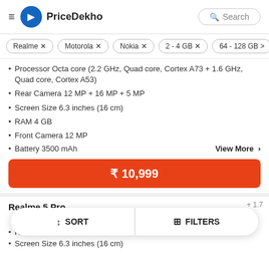PriceDekho
Realme ×
Motorola ×
Nokia ×
2 - 4 GB ×
64 - 128 GB >
Processor Octa core (2.2 GHz, Quad core, Cortex A73 + 1.6 GHz, Quad core, Cortex A53)
Rear Camera 12 MP + 16 MP + 5 MP
Screen Size 6.3 inches (16 cm)
RAM 4 GB
Front Camera 12 MP
Battery 3500 mAh
View More >
₹ 10,999
Realme 5 Pro
GHz, Hexa Core, Kryo 360)
Rear Camera 48 MP + 8 MP + 2 MP + 2 MP
Screen Size 6.3 inches (16 cm)
SORT
FILTERS